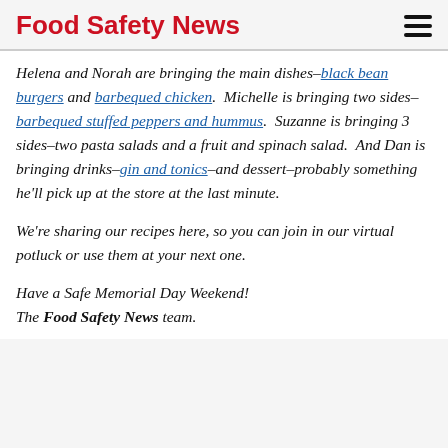Food Safety News
Helena and Norah are bringing the main dishes–black bean burgers and barbequed chicken.  Michelle is bringing two sides–barbequed stuffed peppers and hummus.  Suzanne is bringing 3 sides–two pasta salads and a fruit and spinach salad.  And Dan is bringing drinks–gin and tonics–and dessert–probably something he'll pick up at the store at the last minute.
We're sharing our recipes here, so you can join in our virtual potluck or use them at your next one.
Have a Safe Memorial Day Weekend!
The Food Safety News team.